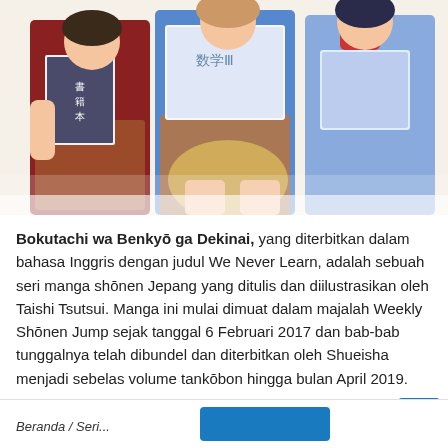[Figure (illustration): Anime illustration showing three female characters in school uniforms holding books/textbooks, reading. Characters wear red/brown and blue uniforms with scarves/ribbons.]
Bokutachi wa Benkyō ga Dekinai, yang diterbitkan dalam bahasa Inggris dengan judul We Never Learn, adalah sebuah seri manga shōnen Jepang yang ditulis dan diilustrasikan oleh Taishi Tsutsui. Manga ini mulai dimuat dalam majalah Weekly Shōnen Jump sejak tanggal 6 Februari 2017 dan bab-bab tunggalnya telah dibundel dan diterbitkan oleh Shueisha menjadi sebelas volume tankōbon hingga bulan April 2019.
Sakura OST